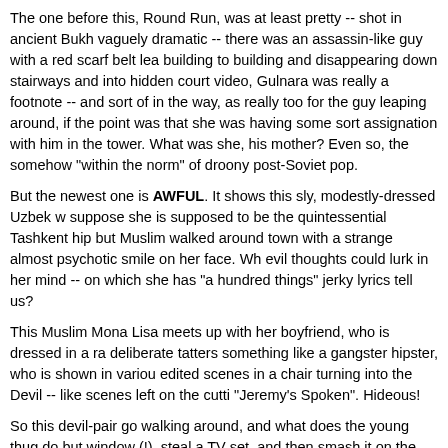The one before this, Round Run, was at least pretty -- shot in ancient Bukh... vaguely dramatic -- there was an assassin-like guy with a red scarf belt lea... building to building and disappearing down stairways and into hidden court... video, Gulnara was really a footnote -- and sort of in the way, as really too ... for the guy leaping around, if the point was that she was having some sort ... assignation with him in the tower. What was she, his mother? Even so, the ... somehow "within the norm" of droony post-Soviet pop.
But the newest one is AWFUL. It shows this sly, modestly-dressed Uzbek w... suppose she is supposed to be the quintessential Tashkent hip but Muslim... walked around town with a strange almost psychotic smile on her face. Wh... evil thoughts could lurk in her mind -- on which she has "a hundred things"... jerky lyrics tell us?
This Muslim Mona Lisa meets up with her boyfriend, who is dressed in a ra... deliberate tatters something like a gangster hipster, who is shown in variou... edited scenes in a chair turning into the Devil -- like scenes left on the cutti... "Jeremy's Spoken". Hideous!
So this devil-pair go walking around, and what does the young thug do but... window (!), steal a TV set, and then smash it on the sidewalk! All the while ... smiling long-dressed gal gazes enigmatically but approvingly, then looks up... sky as red rose petals shower over her.
Now what the HELL is that message all about? Smash Western symbols? ... which is poisoning young minds? Or just smash anything, so it might seem... Is it face state-controlled iconoclasm? The lyrics, in bad English, and awkw... tune:
You look fine but what's going on in your mind